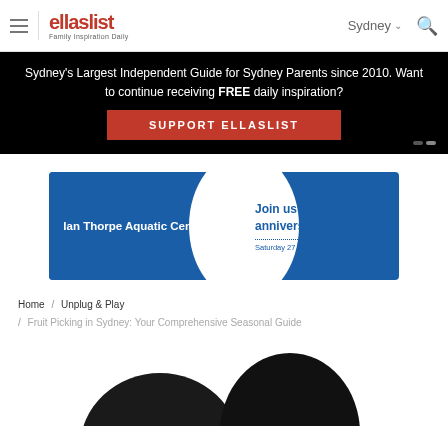ellaslist | Family Inspiration Daily | Sydney
Sydney's Largest Independent Guide for Sydney Parents since 2010. Want to continue receiving FREE daily inspiration?
SUPPORT ELLASLIST
[Figure (illustration): Ian Thorpe Aquatic Centre advertisement banner: Join us for our 15 year anniversary celebration, Saturday 27 August, 2022]
Home / Unplug & Play / Fruit Picking in Sydney: Your Comprehensive Seasonal Guide
[Figure (photo): Partial view of dark fruit/vegetable shapes at bottom of page]